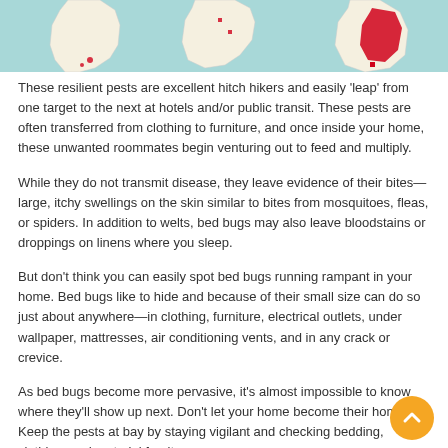[Figure (map): Map showing geographic distribution data, partial view of maps with red highlighted regions]
These resilient pests are excellent hitch hikers and easily 'leap' from one target to the next at hotels and/or public transit. These pests are often transferred from clothing to furniture, and once inside your home, these unwanted roommates begin venturing out to feed and multiply.
While they do not transmit disease, they leave evidence of their bites—large, itchy swellings on the skin similar to bites from mosquitoes, fleas, or spiders. In addition to welts, bed bugs may also leave bloodstains or droppings on linens where you sleep.
But don't think you can easily spot bed bugs running rampant in your home. Bed bugs like to hide and because of their small size can do so just about anywhere—in clothing, furniture, electrical outlets, under wallpaper, mattresses, air conditioning vents, and in any crack or crevice.
As bed bugs become more pervasive, it's almost impossible to know where they'll show up next. Don't let your home become their home too. Keep the pests at bay by staying vigilant and checking bedding, clothing, and material furniture.